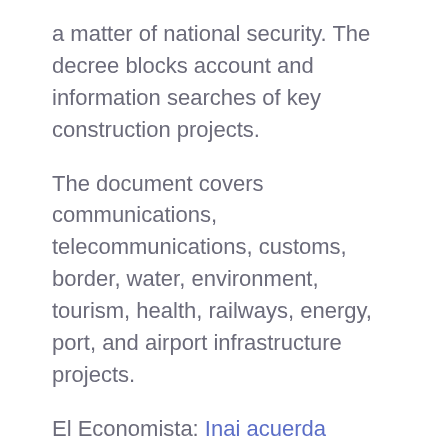a matter of national security. The decree blocks account and information searches of key construction projects.
The document covers communications, telecommunications, customs, border, water, environment, tourism, health, railways, energy, port, and airport infrastructure projects.
El Economista: Inai acuerda interponer controversia constitucional contra “decretazo” de AMLO.
4. Consumer goods will not be